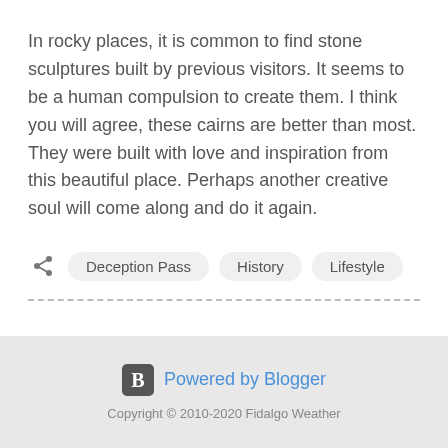In rocky places, it is common to find stone sculptures built by previous visitors.  It seems to be a human compulsion to create them.  I think you will agree, these cairns are better than most.  They were built with love and inspiration from this beautiful place.  Perhaps another creative soul will come along and do it again.
Deception Pass
History
Lifestyle
Powered by Blogger
Copyright © 2010-2020 Fidalgo Weather